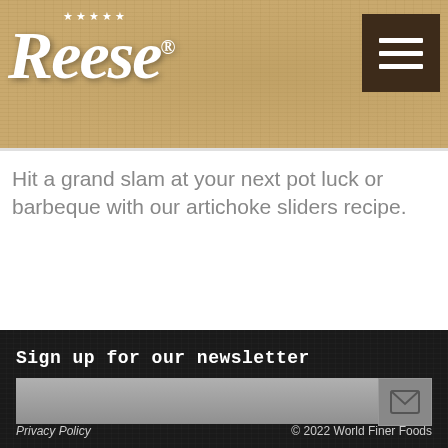[Figure (logo): Reese brand logo in white cursive script with five stars above, on a tan/aged-map background]
Hit a grand slam at your next pot luck or barbeque with our artichoke sliders recipe.
Sign up for our newsletter
[Figure (other): Email input field with submit button containing an envelope icon]
Privacy Policy   © 2022 World Finer Foods